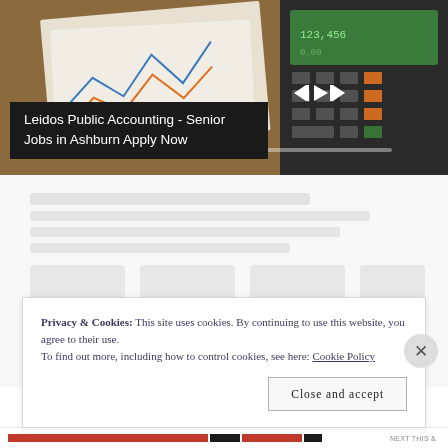[Figure (photo): Photograph of financial documents, calculator, and charts on a wooden desk, with media player controls overlay (skip back, play, skip forward buttons) and a progress bar visible.]
Leidos Public Accounting - Senior Jobs in Ashburn Apply Now
[Figure (screenshot): Blurred/obscured content area showing faded text blocks and images, representing partially visible article content behind a cookie consent overlay.]
Privacy & Cookies: This site uses cookies. By continuing to use this website, you agree to their use.
To find out more, including how to control cookies, see here: Cookie Policy
Close and accept